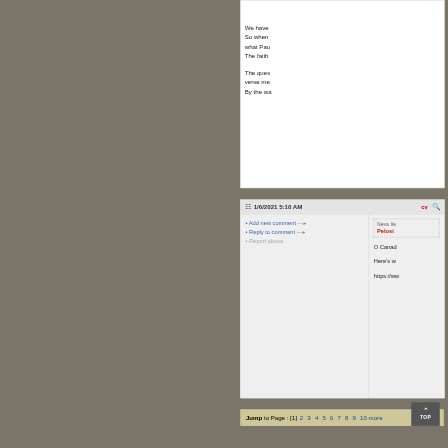We have... So when... what Pau... The faith...
The ques... verse me... By the wa...
1/6/2021 5:10 AM
Add new comment
Reply to comment
Report abuse
News Item... Pelosi...
O Canad...
Here's w...
https://ww...
Jump to Page : [1] 2 3 4 5 6 7 8 9 10 more...